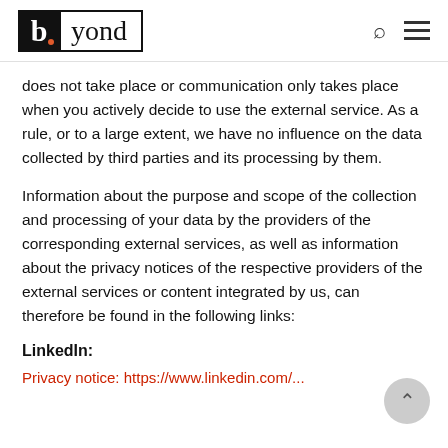b.yond
does not take place or communication only takes place when you actively decide to use the external service. As a rule, or to a large extent, we have no influence on the data collected by third parties and its processing by them.
Information about the purpose and scope of the collection and processing of your data by the providers of the corresponding external services, as well as information about the privacy notices of the respective providers of the external services or content integrated by us, can therefore be found in the following links:
LinkedIn:
Privacy notice: https://www.linkedin.com/...